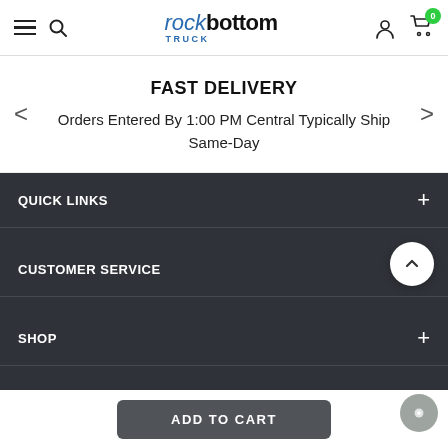rock bottom TRUCK — navigation header with hamburger menu, search, logo, user account, and cart (0 items)
FAST DELIVERY
Orders Entered By 1:00 PM Central Typically Ship Same-Day
QUICK LINKS
CUSTOMER SERVICE
SHOP
TOP BRANDS
ADD TO CART